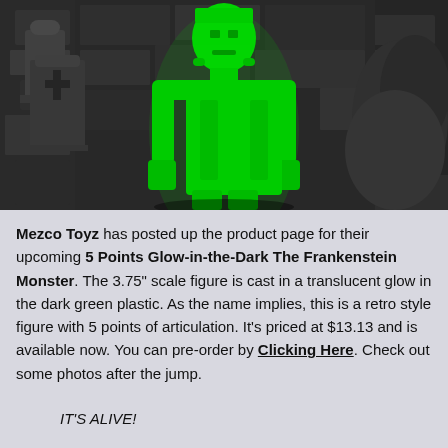[Figure (photo): A glow-in-the-dark green Frankenstein Monster figure standing in a black-and-white graveyard/cemetery scene with rocky stone walls and monuments in the background. The figure is bright green/translucent against the monochrome background.]
Mezco Toyz has posted up the product page for their upcoming 5 Points Glow-in-the-Dark The Frankenstein Monster. The 3.75" scale figure is cast in a translucent glow in the dark green plastic. As the name implies, this is a retro style figure with 5 points of articulation. It's priced at $13.13 and is available now. You can pre-order by Clicking Here. Check out some photos after the jump.
IT'S ALIVE!
5 Points presents The Frankenstein Monster as the first offering of Mezco's Monsters!
Constructed from corpses by the infamous Dr.